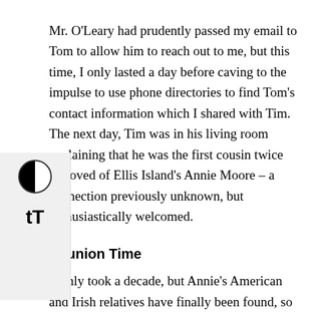Mr. O'Leary had prudently passed my email to Tom to allow him to reach out to me, but this time, I only lasted a day before caving to the impulse to use phone directories to find Tom's contact information which I shared with Tim. The next day, Tim was in his living room explaining that he was the first cousin twice removed of Ellis Island's Annie Moore – a connection previously unknown, but enthusiastically welcomed.
Reunion Time
It only took a decade, but Annie's American and Irish relatives have finally been found, so all that's left now is an international family